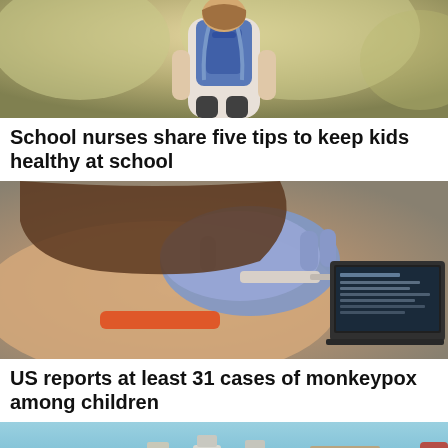[Figure (photo): Child with backpack from behind, outdoor blurred background]
School nurses share five tips to keep kids healthy at school
[Figure (photo): Healthcare worker with blue gloves drawing blood or giving injection to a child, laptop visible in background]
US reports at least 31 cases of monkeypox among children
[Figure (photo): COVID-19 vaccine vials and bandages on a medical tray]